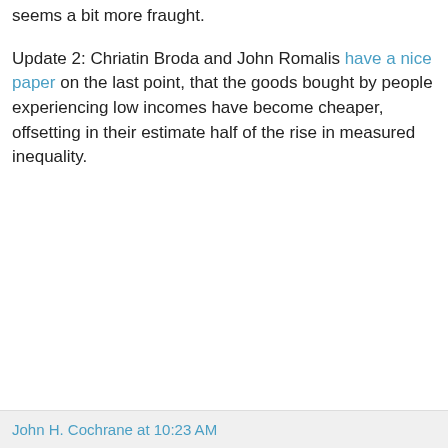seems a bit more fraught.
Update 2: Chriatin Broda and John Romalis have a nice paper on the last point, that the goods bought by people experiencing low incomes have become cheaper, offsetting in their estimate half of the rise in measured inequality.
John H. Cochrane at 10:23 AM